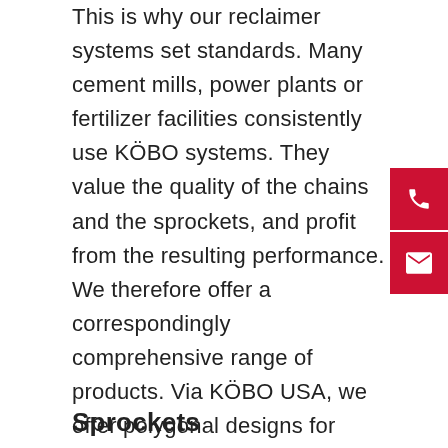This is why our reclaimer systems set standards. Many cement mills, power plants or fertilizer facilities consistently use KÖBO systems. They value the quality of the chains and the sprockets, and profit from the resulting performance. We therefore offer a correspondingly comprehensive range of products. Via KÖBO USA, we offer polygonal designs for internal rollers and solutions with externally mounted rollers, durable bearings and robust seals. Our externally positioned roller units reduce wear in the chain joint. Replacing the rollers is straightforward and quickly implemented. One advantage is the significantly longer service life of the systems.
Sprockets